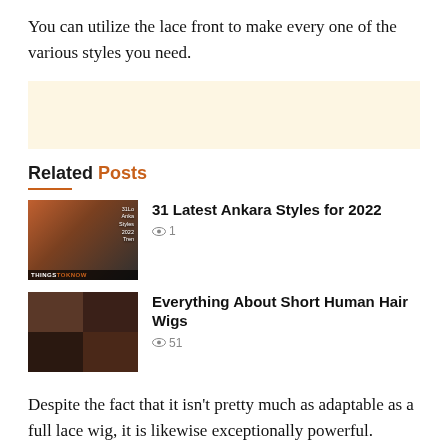You can utilize the lace front to make every one of the various styles you need.
[Figure (other): Advertisement banner with cream/beige background]
Related Posts
31 Latest Ankara Styles for 2022 — views: 1
Everything About Short Human Hair Wigs — views: 51
Despite the fact that it isn't pretty much as adaptable as a full lace wig, it is likewise exceptionally powerful.